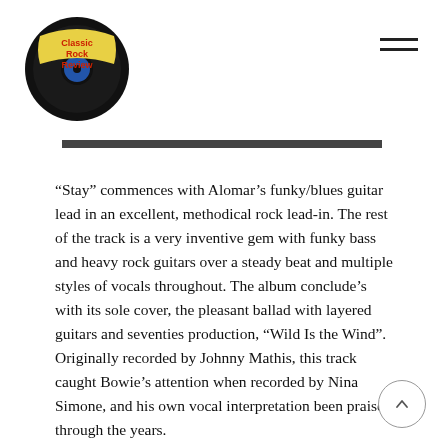Classic Rock Review
[Figure (illustration): Top portion of an image, cropped, showing a partial photograph, dark bar visible at top]
“Stay” commences with Alomar’s funky/blues guitar lead in an excellent, methodical rock lead-in. The rest of the track is a very inventive gem with funky bass and heavy rock guitars over a steady beat and multiple styles of vocals throughout. The album conclude’s with its sole cover, the pleasant ballad with layered guitars and seventies production, “Wild Is the Wind”. Originally recorded by Johnny Mathis, this track caught Bowie’s attention when recorded by Nina Simone, and his own vocal interpretation been praised through the years.